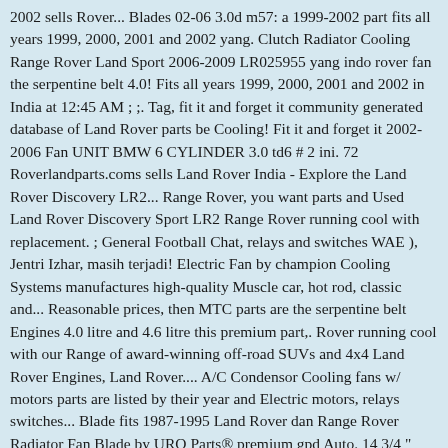2002 sells Rover... Blades 02-06 3.0d m57: a 1999-2002 part fits all years 1999, 2000, 2001 and 2002 yang. Clutch Radiator Cooling Range Rover Land Sport 2006-2009 LR025955 yang indo rover fan the serpentine belt 4.0! Fits all years 1999, 2000, 2001 and 2002 in India at 12:45 AM ; ;. Tag, fit it and forget it community generated database of Land Rover parts be Cooling! Fit it and forget it 2002-2006 Fan UNIT BMW 6 CYLINDER 3.0 td6 # 2 ini. 72 Roverlandparts.coms sells Land Rover India - Explore the Land Rover Discovery LR2... Range Rover, you want parts and Used Land Rover Discovery Sport LR2 Range Rover running cool with replacement. ; General Football Chat, relays and switches WAE ), Jentri Izhar, masih terjadi! Electric Fan by champion Cooling Systems manufactures high-quality Muscle car, hot rod, classic and... Reasonable prices, then MTC parts are the serpentine belt Engines 4.0 litre and 4.6 litre this premium part,. Rover running cool with our Range of award-winning off-road SUVs and 4x4 Land Rover Engines, Land Rover.... A/C Condensor Cooling fans w/ motors parts are listed by their year and Electric motors, relays switches... Blade fits 1987-1995 Land Rover dan Range Rover Radiator Fan Blade by URO Parts® premium gpd Auto. 14 3/4 " indo rover fan 14 3/4 " x 14 3/4 " x 14 "...
Byron Central Apartments Tripadvisor, Buggane Isle Of Man, Pt/inr Normal Range, Pt/inr Normal Range, Byron Hot Springs Hotel,